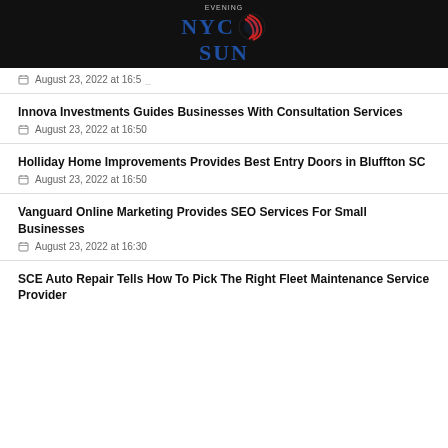Evening NYC Sun
August 23, 2022 at 16:5_
Innova Investments Guides Businesses With Consultation Services
August 23, 2022 at 16:50
Holliday Home Improvements Provides Best Entry Doors in Bluffton SC
August 23, 2022 at 16:50
Vanguard Online Marketing Provides SEO Services For Small Businesses
August 23, 2022 at 16:30
SCE Auto Repair Tells How To Pick The Right Fleet Maintenance Service Provider